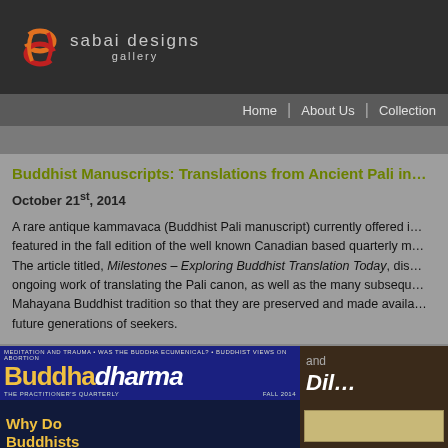[Figure (logo): Sabai Designs Gallery logo — stylized orange and red 'S' swirl with text 'sabai designs gallery' on dark background]
Home | About Us | Collection
Buddhist Manuscripts: Translations from Ancient Pali in…
October 21st, 2014
A rare antique kammavaca (Buddhist Pali manuscript) currently offered … featured in the fall edition of the well known Canadian based quarterly m… The article titled, Milestones – Exploring Buddhist Translation Today, dis… ongoing work of translating the Pali canon, as well as the many subsequ… Mahayana Buddhist tradition so that they are preserved and made availa… future generations of seekers.
[Figure (photo): Cover of Buddhadharma magazine Fall 2014 showing headline 'Why Do Buddhists…' with Buddha image]
[Figure (photo): Partial view of a book cover showing 'and Dil…' text with manuscript image at bottom]